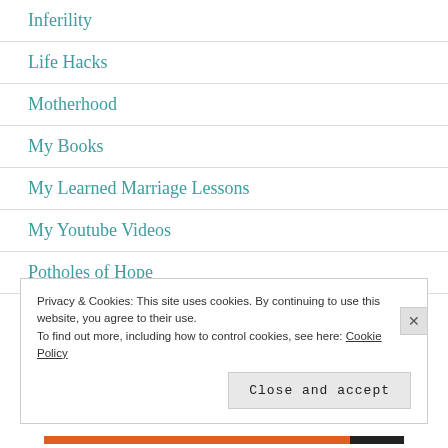Inferility
Life Hacks
Motherhood
My Books
My Learned Marriage Lessons
My Youtube Videos
Potholes of Hope
Privacy & Cookies: This site uses cookies. By continuing to use this website, you agree to their use.
To find out more, including how to control cookies, see here: Cookie Policy
Close and accept